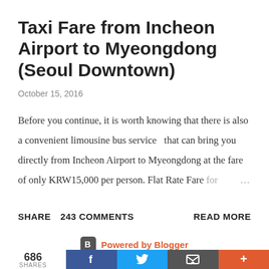Taxi Fare from Incheon Airport to Myeongdong (Seoul Downtown)
October 15, 2016
Before you continue, it is worth knowing that there is also a convenient limousine bus service  that can bring you directly from Incheon Airport to Myeongdong at the fare of only KRW15,000 per person. Flat Rate Fare for ...
SHARE   243 COMMENTS   READ MORE
Powered by Blogger
686 SHARES